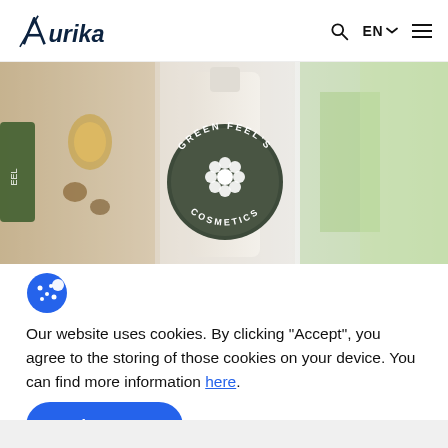Aurika — EN (navigation)
[Figure (photo): Hero banner showing Green Feel's Cosmetics product bottles with a circular dark green label reading 'GREEN FEEL'S COSMETICS' with a flower icon in the center. Background includes golden-toned objects and blurred greenery.]
[Figure (illustration): Blue cookie icon (circle with dots representing a cookie)]
Our website uses cookies. By clicking "Accept", you agree to the storing of those cookies on your device. You can find more information here.
Accept